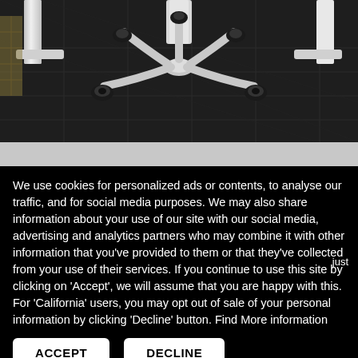[Figure (photo): Bottom portion of a white office chair base with black caster wheels on a dark textured carpet/floor tile. White metal desk legs visible in background.]
We use cookies for personalized ads or contents, to analyse our traffic, and for social media purposes. We may also share information about your use of our site with our social media, advertising and analytics partners who may combine it with other information that you've provided to them or that they've collected from your use of their services. If you continue to use this site by clicking on 'Accept', we will assume that you are happy with this. For 'California' users, you may opt out of sale of your personal information by clicking 'Decline' button. Find More information
just
ACCEPT
DECLINE